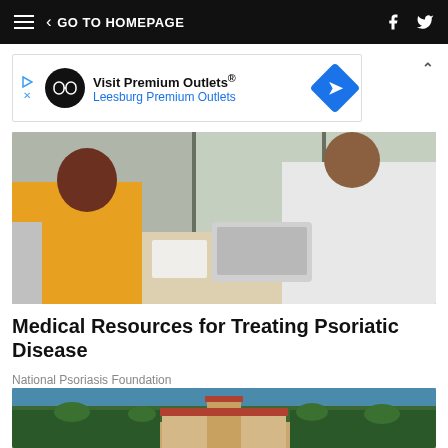GO TO HOMEPAGE
[Figure (infographic): Advertisement banner for Visit Premium Outlets® - Leesburg Premium Outlets with logo and blue diamond arrow icon]
[Figure (photo): A woman in a yellow sweater sitting across from a doctor in a white coat at a desk with a laptop, in a bright office setting]
Medical Resources for Treating Psoriatic Disease
National Psoriasis Foundation
[Figure (photo): Aerial view of a large estate or resort with red-tiled roofs surrounded by palm trees and water in the background]